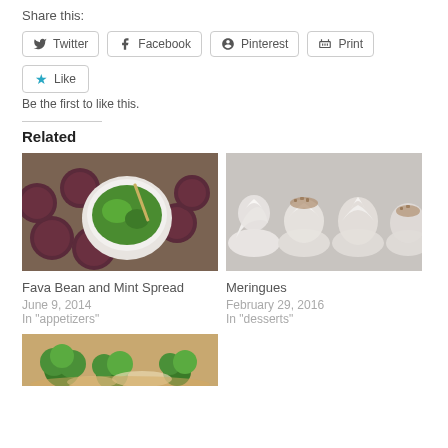Share this:
Twitter | Facebook | Pinterest | Print
Like
Be the first to like this.
Related
[Figure (photo): Bowl of green fava bean and mint spread surrounded by sliced salami on wooden board]
Fava Bean and Mint Spread
June 9, 2014
In "appetizers"
[Figure (photo): Four meringue desserts topped with whipped cream and crumble on grey surface]
Meringues
February 29, 2016
In "desserts"
[Figure (photo): Dish with broccoli and other vegetables, partial view at bottom of page]